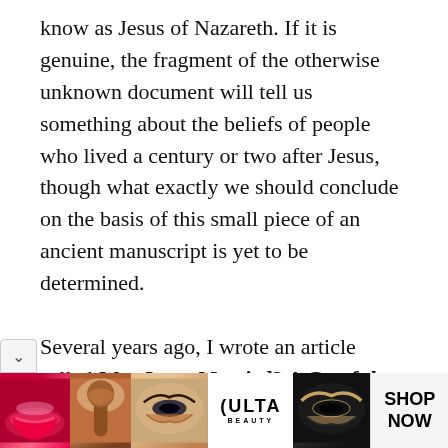know as Jesus of Nazareth. If it is genuine, the fragment of the otherwise unknown document will tell us something about the beliefs of people who lived a century or two after Jesus, though what exactly we should conclude on the basis of this small piece of an ancient manuscript is yet to be determined.

Several years ago, I wrote an article called Was Jesus Married? A Careful Look at the Real Evidence. I wrote this in response to the fictional “scholarship” found in Dan Brown’s seller, The Da Vinci Code. In this article, I
[Figure (photo): Advertisement banner for Ulta Beauty showing close-up photos of lips with red lipstick, makeup brush, eye with eyeshadow, Ulta logo, eye with dramatic makeup, and a 'SHOP NOW' call to action button.]